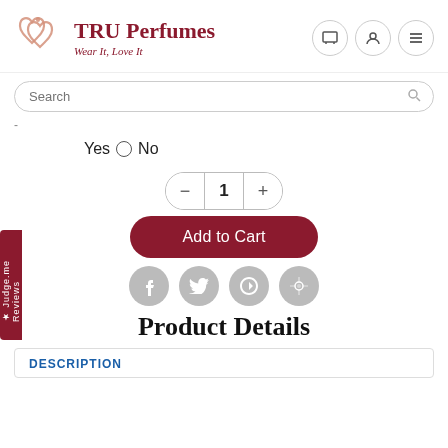[Figure (logo): TRU Perfumes logo with two overlapping hearts and text 'TRU Perfumes / Wear It, Love It']
Search
-
Yes  No
1
Add to Cart
[Figure (illustration): Social media share icons: Facebook, Twitter, Google+, Pinterest]
Product Details
DESCRIPTION